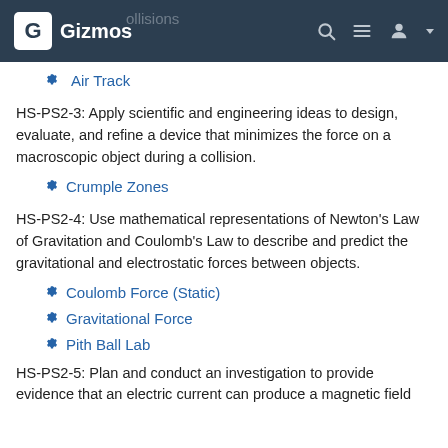Gizmos
Air Track
HS-PS2-3: Apply scientific and engineering ideas to design, evaluate, and refine a device that minimizes the force on a macroscopic object during a collision.
Crumple Zones
HS-PS2-4: Use mathematical representations of Newton's Law of Gravitation and Coulomb's Law to describe and predict the gravitational and electrostatic forces between objects.
Coulomb Force (Static)
Gravitational Force
Pith Ball Lab
HS-PS2-5: Plan and conduct an investigation to provide evidence that an electric current can produce a magnetic field